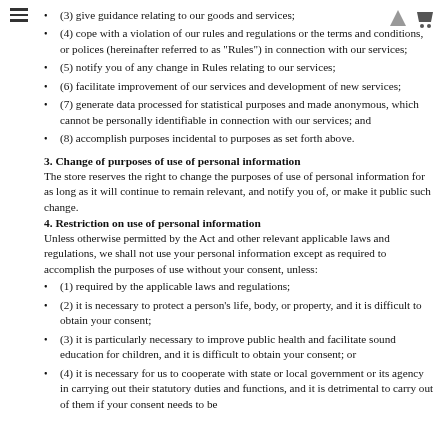[Figure (illustration): Hamburger menu icon (three horizontal lines) in top-left area]
[Figure (illustration): Navigation icons: tent/alert triangle icon and shopping cart icon in top-right area]
(3) give guidance relating to our goods and services;
(4) cope with a violation of our rules and regulations or the terms and conditions, or polices (hereinafter referred to as "Rules") in connection with our services;
(5) notify you of any change in Rules relating to our services;
(6) facilitate improvement of our services and development of new services;
(7) generate data processed for statistical purposes and made anonymous, which cannot be personally identifiable in connection with our services; and
(8) accomplish purposes incidental to purposes as set forth above.
3. Change of purposes of use of personal information
The store reserves the right to change the purposes of use of personal information for as long as it will continue to remain relevant, and notify you of, or make it public such change.
4. Restriction on use of personal information
Unless otherwise permitted by the Act and other relevant applicable laws and regulations, we shall not use your personal information except as required to accomplish the purposes of use without your consent, unless:
(1) required by the applicable laws and regulations;
(2) it is necessary to protect a person’s life, body, or property, and it is difficult to obtain your consent;
(3) it is particularly necessary to improve public health and facilitate sound education for children, and it is difficult to obtain your consent; or
(4) it is necessary for us to cooperate with state or local government or its agency in carrying out their statutory duties and functions, and it is detrimental to carry out of them if your consent needs to be